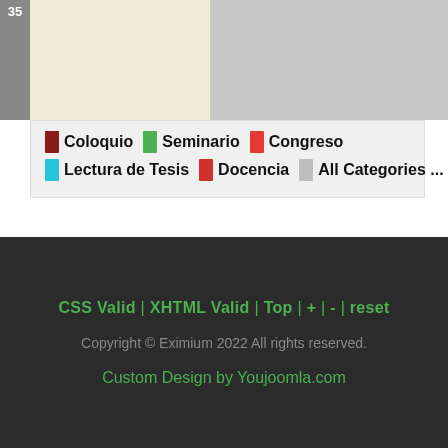[Figure (other): Calendar grid top row showing cell numbered 35, with beige and gray columns]
Coloquio | Seminario | Congreso | Lectura de Tesis | Docencia | All Categories ...
CSS Valid | XHTML Valid | Top | + | - | reset
Copyright © Eximium 2022 All rights reserved.
Custom Design by Youjoomla.com